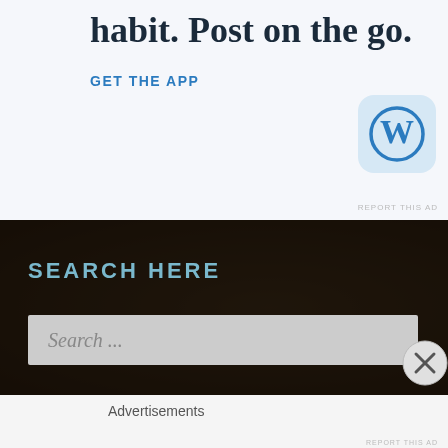habit. Post on the go.
GET THE APP
[Figure (logo): WordPress app icon — blue circle W logo on light blue rounded square background]
REPORT THIS AD
SEARCH HERE
Search ...
[Figure (other): Close / X button circle]
Advertisements
REPORT THIS AD